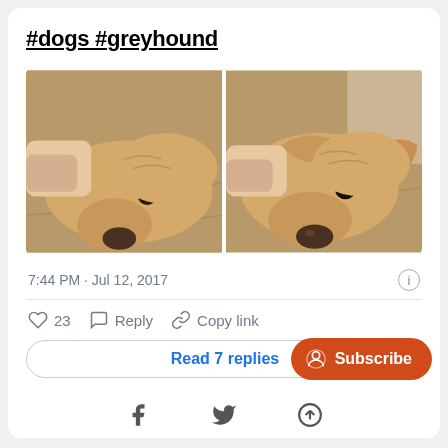#dogs #greyhound
[Figure (photo): Two side-by-side photos of a greyhound dog resting on a leather couch, being petted by a person's hand.]
7:44 PM · Jul 12, 2017
♡ 23   Reply   Copy link
Read 7 replies
Subscribe